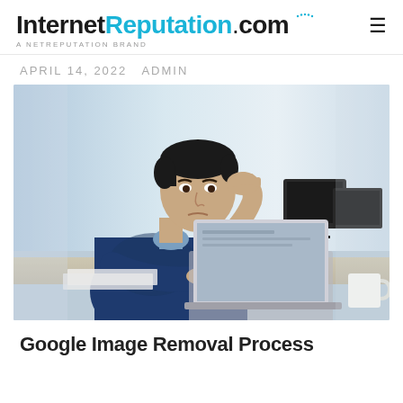InternetReputation.com — A NETREPUTATION BRAND
APRIL 14, 2022  ADMIN
[Figure (photo): A young Asian man in a navy blue sweater sits at a desk looking stressed, resting his head on his hand while using a laptop computer in a bright office setting with monitors visible in the background.]
Google Image Removal Process